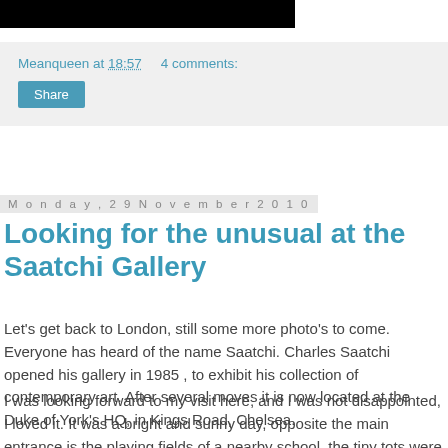[Figure (photo): Black banner/header image at top of page]
Meanqueen at 18:57    4 comments:
Share
Monday, 29 November 2010
Looking for the unusual at the Saatchi Gallery
Let's get back to London, still some more photo's to come. Everyone has heard of the name Saatchi. Charles Saatchi opened his gallery in 1985 , to exhibit his collection of contemporary art. After several moves it is now located at the Duke of York's HQ, in Kings Road, Chelsea.
I was looking forward to my visit here, and I was not disappointed, I loved it. It was a bright and sunny day, opposite the main entrance is the playing fields of a nearby school, the tiny tots were enjoying a good old fashioned run